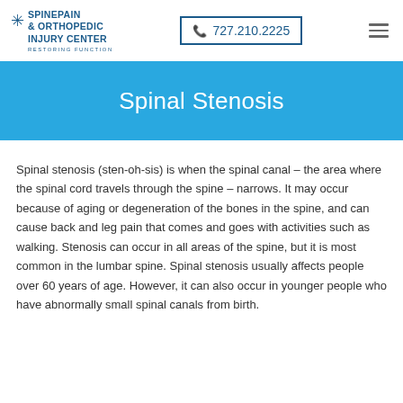SpinePain & Orthopedic Injury Center — Restoring Function | 727.210.2225
Spinal Stenosis
Spinal stenosis (sten-oh-sis) is when the spinal canal – the area where the spinal cord travels through the spine – narrows. It may occur because of aging or degeneration of the bones in the spine, and can cause back and leg pain that comes and goes with activities such as walking. Stenosis can occur in all areas of the spine, but it is most common in the lumbar spine. Spinal stenosis usually affects people over 60 years of age. However, it can also occur in younger people who have abnormally small spinal canals from birth.